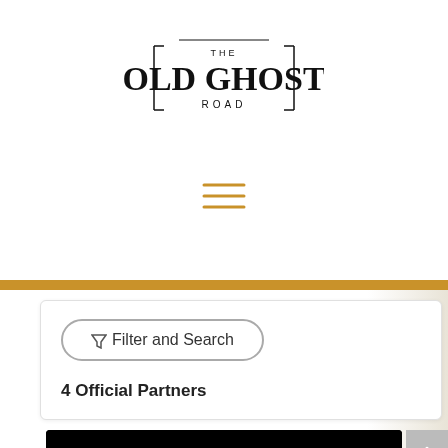[Figure (logo): The Old Ghost Road logo with stylized text and border decoration]
[Figure (infographic): Hamburger menu icon (three horizontal lines) in gold/amber color]
Filter and Search
4 Official Partners
[Figure (logo): Buller Adventures logo: white mountain silhouette and large white text BULLER ADVENTURES on black background]